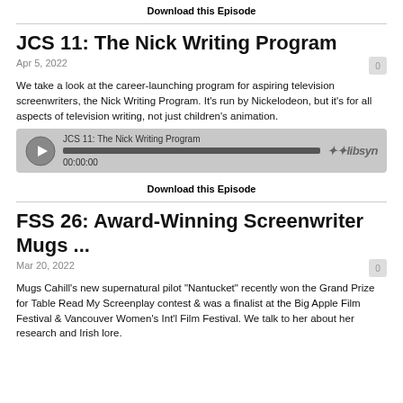Download this Episode
JCS 11: The Nick Writing Program
Apr 5, 2022
We take a look at the career-launching program for aspiring television screenwriters, the Nick Writing Program. It's run by Nickelodeon, but it's for all aspects of television writing, not just children's animation.
[Figure (other): Audio player widget for JCS 11: The Nick Writing Program showing play button, progress bar at 00:00:00, and libsyn logo]
Download this Episode
FSS 26: Award-Winning Screenwriter Mugs ...
Mar 20, 2022
Mugs Cahill's new supernatural pilot "Nantucket" recently won the Grand Prize for Table Read My Screenplay contest & was a finalist at the Big Apple Film Festival & Vancouver Women's Int'l Film Festival. We talk to her about her research and Irish lore.